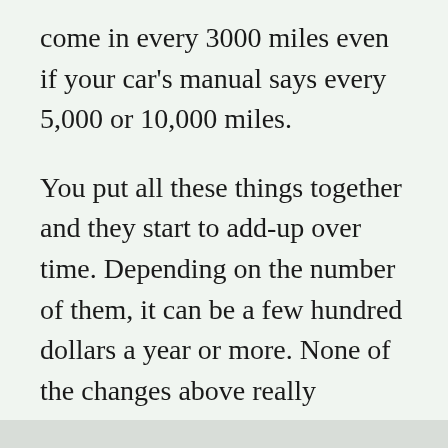come in every 3000 miles even if your car's manual says every 5,000 or 10,000 miles.
You put all these things together and they start to add-up over time. Depending on the number of them, it can be a few hundred dollars a year or more. None of the changes above really inconvenience you. In fact getting fewer oil changes is time saved. So I look at these things as if someone just offered me a few hundred dollars. Why not take it, right?